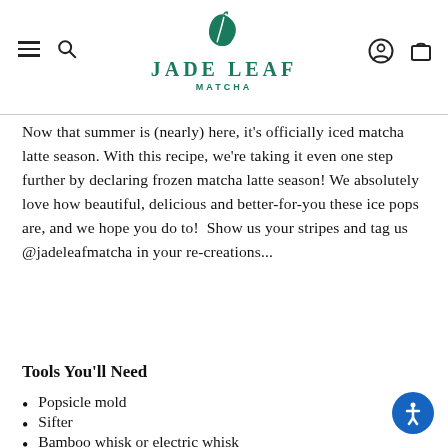JADE LEAF MATCHA
Now that summer is (nearly) here, it's officially iced matcha latte season. With this recipe, we're taking it even one step further by declaring frozen matcha latte season! We absolutely love how beautiful, delicious and better-for-you these ice pops are, and we hope you do to!  Show us your stripes and tag us @jadeleafmatcha in your re-creations...
Tools You'll Need
Popsicle mold
Sifter
Bamboo whisk or electric whisk